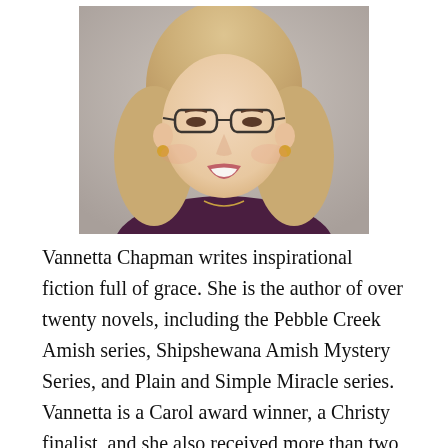[Figure (photo): Headshot portrait of Vannetta Chapman, a woman with short blonde hair wearing glasses and a dark purple top, smiling at the camera against a light gray background.]
Vannetta Chapman writes inspirational fiction full of grace. She is the author of over twenty novels, including the Pebble Creek Amish series, Shipshewana Amish Mystery Series, and Plain and Simple Miracle series. Vannetta is a Carol award winner, a Christy finalist, and she also received more than two dozen awards from Romance Writers of America chapter groups. She currently writes Christian suspense, Amish romance, and Amish mystery. She was a teacher for 15 years and resides in the Texas